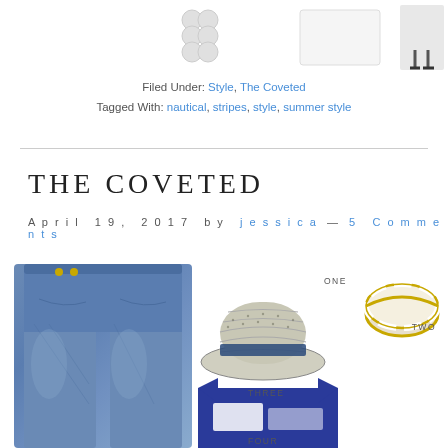[Figure (photo): Top portion showing product images: pearl drop earrings on left, white bag/item in center, and a figure in black sandals on right — partial view at top of page]
Filed Under: Style, The Coveted
Tagged With: nautical, stripes, style, summer style
THE COVETED
April 19, 2017 by jessica — 5 Comments
[Figure (photo): Fashion flat lay product collage showing: (left) blue denim wide-leg jeans, (center top) blue and white woven fedora hat labeled ONE and THREE, (right top) gold and white striped bangle bracelet labeled TWO, (center bottom) blue graphic t-shirt partially visible labeled FOUR]